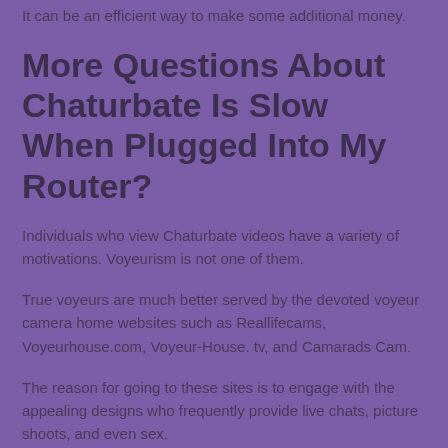It can be an efficient way to make some additional money.
More Questions About Chaturbate Is Slow When Plugged Into My Router?
Individuals who view Chaturbate videos have a variety of motivations. Voyeurism is not one of them.
True voyeurs are much better served by the devoted voyeur camera home websites such as Reallifecams, Voyeurhouse.com, Voyeur-House. tv, and Camarads Cam.
The reason for going to these sites is to engage with the appealing designs who frequently provide live chats, picture shoots, and even sex.
The Internet of Things (IoT) is a term utilized to describe the next